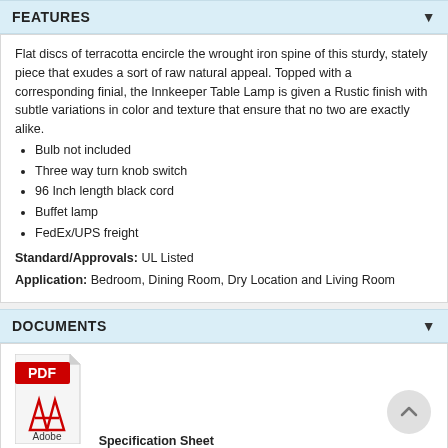FEATURES
Flat discs of terracotta encircle the wrought iron spine of this sturdy, stately piece that exudes a sort of raw natural appeal. Topped with a corresponding finial, the Innkeeper Table Lamp is given a Rustic finish with subtle variations in color and texture that ensure that no two are exactly alike.
Bulb not included
Three way turn knob switch
96 Inch length black cord
Buffet lamp
FedEx/UPS freight
Standard/Approvals: UL Listed
Application: Bedroom, Dining Room, Dry Location and Living Room
DOCUMENTS
[Figure (illustration): PDF/Adobe Acrobat file icon]
Specification Sheet